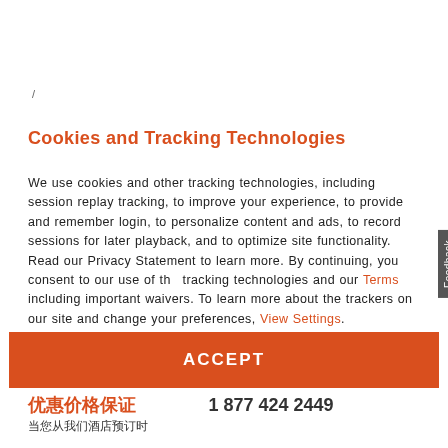/
Cookies and Tracking Technologies
We use cookies and other tracking technologies, including session replay tracking, to improve your experience, to provide and remember login, to personalize content and ads, to record sessions for later playback, and to optimize site functionality. Read our Privacy Statement to learn more. By continuing, you consent to our use of the tracking technologies and our Terms including important waivers. To learn more about the trackers on our site and change your preferences, View Settings.
ACCEPT
优惠价格保证
1 877 424 2449
当您从我们酒店预订时